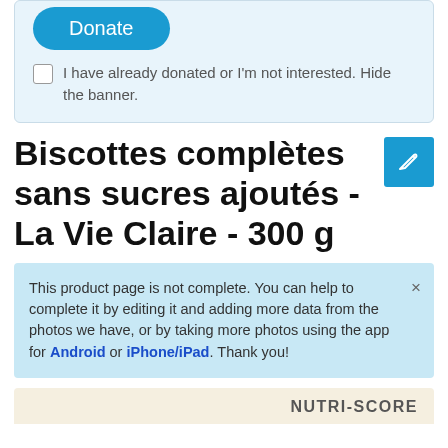[Figure (screenshot): Donate button (blue rounded rectangle) with text 'Donate']
I have already donated or I'm not interested. Hide the banner.
Biscottes complètes sans sucres ajoutés - La Vie Claire - 300 g
This product page is not complete. You can help to complete it by editing it and adding more data from the photos we have, or by taking more photos using the app for Android or iPhone/iPad. Thank you!
NUTRI-SCORE